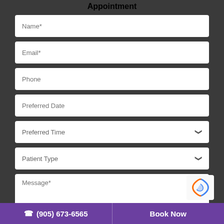Appointment
[Figure (screenshot): Web form for booking a dental/medical appointment with fields: Name*, Email*, Phone, Preferred Date, Preferred Time (dropdown), Patient Type (dropdown), Message*]
☎ (905) 673-6565   Book Now